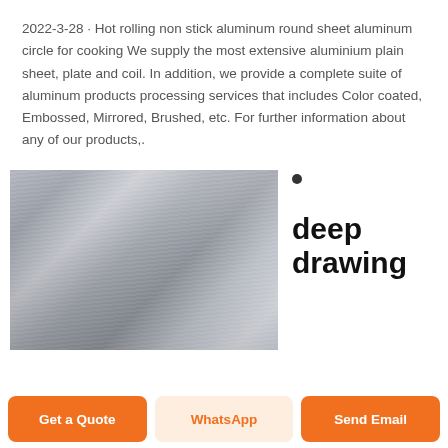2022-3-28 · Hot rolling non stick aluminum round sheet aluminum circle for cooking We supply the most extensive aluminium plain sheet, plate and coil. In addition, we provide a complete suite of aluminum products processing services that includes Color coated, Embossed, Mirrored, Brushed, etc. For further information about any of our products,.
[Figure (photo): Brushed aluminum sheet with metallic sheen, showing horizontal brushing texture and light reflections]
•
deep drawing
Get a Quote   WhatsApp   Send Email